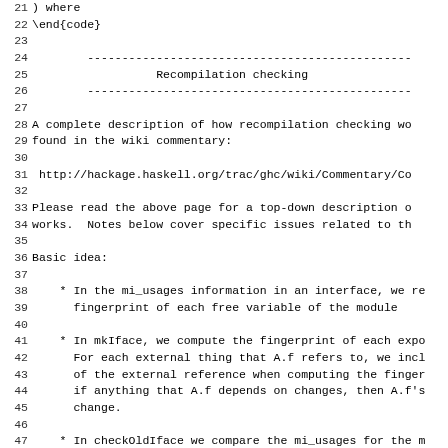Source code listing lines 21-53, including recompilation checking commentary in Haskell/C source file format
Recompilation checking
A complete description of how recompilation checking works can be found in the wiki commentary:
http://hackage.haskell.org/trac/ghc/wiki/Commentary/Co
Please read the above page for a top-down description of how it works. Notes below cover specific issues related to th
Basic idea:
* In the mi_usages information in an interface, we record the fingerprint of each free variable of the module
* In mkIface, we compute the fingerprint of each exported thing. For each external thing that A.f refers to, we include the fingerprint of the external reference when computing the fingerprint of A.f; if anything that A.f depends on changes, then A.f's fingerprint will change.
* In checkOldIface we compare the mi_usages for the module with the actual fingerprint for all each thing recorded
\begin{code}
#include "HsVersions.h"